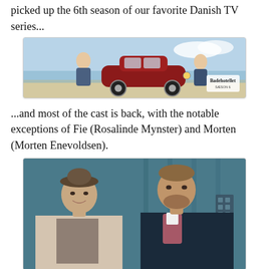picked up the 6th season of our favorite Danish TV series...
[Figure (photo): Badehotellet Season 6 promotional banner showing a vintage red car and cast members, with the show logo text 'Badehotellet SÆSON 6']
...and most of the cast is back, with the notable exceptions of Fie (Rosalinde Mynster) and Morten (Morten Enevoldsen).
[Figure (photo): Photo of two cast members: a woman wearing a hat and light coat, and a man in a dark coat with a scarf, standing together indoors]
Definitely going to miss them.